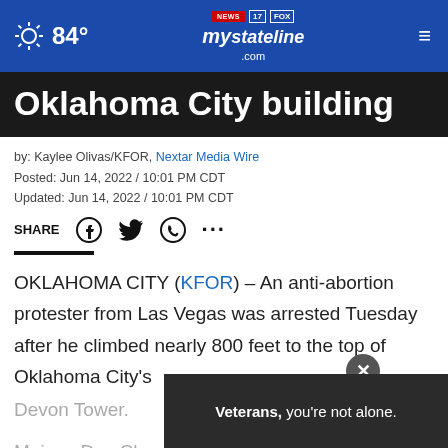84° | mystateline NEWS .com
Oklahoma City building
by: Kaylee Olivas/KFOR, Nexstar Media Wire
Posted: Jun 14, 2022 / 10:01 PM CDT
Updated: Jun 14, 2022 / 10:01 PM CDT
SHARE
OKLAHOMA CITY (KFOR) – An anti-abortion protester from Las Vegas was arrested Tuesday after he climbed nearly 800 feet to the top of Oklahoma City's Devon Tower.
Maison Des Champs, also known as 'Pro-life
[Figure (screenshot): Advertisement banner: Veterans, you're not alone.]